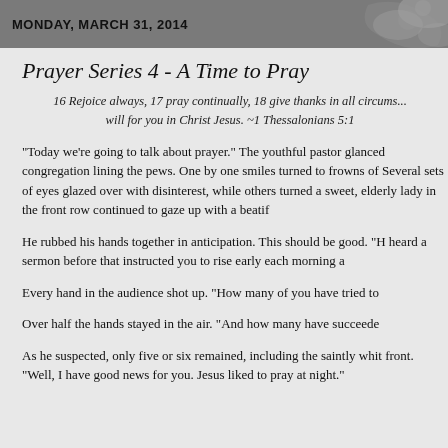MONDAY, MARCH 31, 2014
Prayer Series 4 - A Time to Pray
16 Rejoice always, 17 pray continually, 18 give thanks in all circums... will for you in Christ Jesus. ~1 Thessalonians 5:1
“Today we’re going to talk about prayer.” The youthful pastor glanced congregation lining the pews. One by one smiles turned to frowns of Several sets of eyes glazed over with disinterest, while others turned a sweet, elderly lady in the front row continued to gaze up with a beatif
He rubbed his hands together in anticipation. This should be good. “H heard a sermon before that instructed you to rise early each morning a
Every hand in the audience shot up. “How many of you have tried to
Over half the hands stayed in the air. “And how many have succeede
As he suspected, only five or six remained, including the saintly whit front. “Well, I have good news for you. Jesus liked to pray at night.”